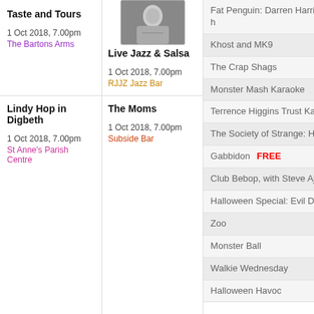[Figure (photo): Black and white photo of a performer, circular crop]
Taste and Tours
Live Jazz & Salsa
1 Oct 2018, 7.00pm
The Bartons Arms
1 Oct 2018, 7.00pm
RJJZ Jazz Bar
Fat Penguin: Darren Harriott, Es...
Khost and MK9
The Crap Shags
Monster Mash Karaoke
Terrence Higgins Trust Karaoke N...
The Society of Strange: Hallowee...
Gabbidon  FREE
Club Bebop, with Steve Ajao Qua...
Halloween Special: Evil Dead
Zoo
Monster Ball
Walkie Wednesday
Halloween Havoc
Lindy Hop in Digbeth
The Moms
1 Oct 2018, 7.00pm
St Anne's Parish Centre
1 Oct 2018, 7.00pm
Subside Bar